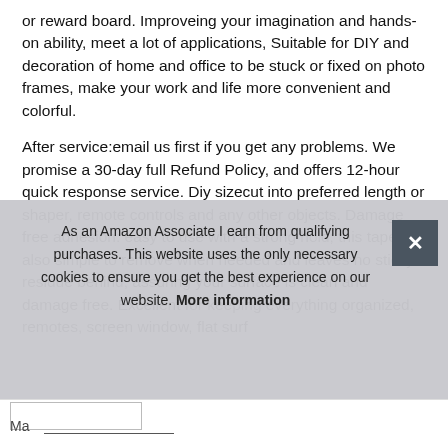or reward board. Improveing your imagination and hands-on ability, meet a lot of applications, Suitable for DIY and decoration of home and office to be stuck or fixed on photo frames, make your work and life more convenient and colorful.
After service:email us first if you get any problems. We promise a 30-day full Refund Policy, and offers 12-hour quick response service. Diy sizecut into preferred length or shaper, remote controls and any other objects. Damage free adhesion: easy to use with a strong hold; this tape is also simple to remove when needed and leaves no sticky residue behind, assuring your surface is clean and damage free. Excellent for keeping everything organized, remotes, screen window, flat surf
As an Amazon Associate I earn from qualifying purchases. This website uses the only necessary cookies to ensure you get the best experience on our website. More information